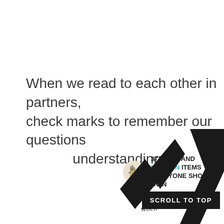When we read to each other in partners, check marks to remember our questions understanding.
[Figure (infographic): Ad banner showing a circular image of kitchen knives block with text '37 HOME AND KITCHEN ITEMS EVERYONE SHOULD OWN']
[Figure (illustration): Bottom portion showing large black check marks/arrows and handwritten words 'who', 'what', 'when' with partial text 'understanding' rotated vertically on the right edge]
SCROLL TO TOP